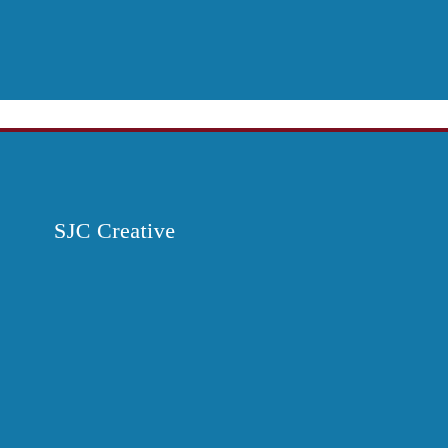[Figure (other): Top blue banner bar spanning full width]
SJC Creative